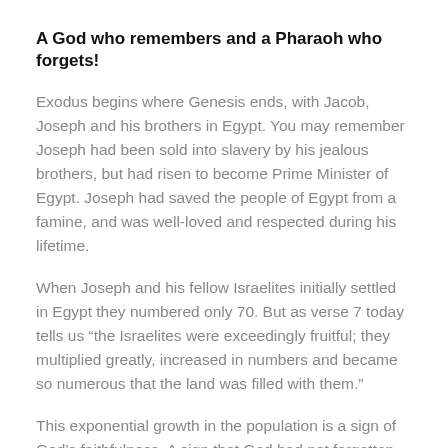A God who remembers and a Pharaoh who forgets!
Exodus begins where Genesis ends, with Jacob, Joseph and his brothers in Egypt. You may remember Joseph had been sold into slavery by his jealous brothers, but had risen to become Prime Minister of Egypt. Joseph had saved the people of Egypt from a famine, and was well-loved and respected during his lifetime.
When Joseph and his fellow Israelites initially settled in Egypt they numbered only 70. But as verse 7 today tells us “the Israelites were exceedingly fruitful; they multiplied greatly, increased in numbers and became so numerous that the land was filled with them.”
This exponential growth in the population is a sign of God’s faithfulness. A sign that God had not forgotten his promise to Joseph’s great grandfather Abraham many decades before. A promise to bless him and